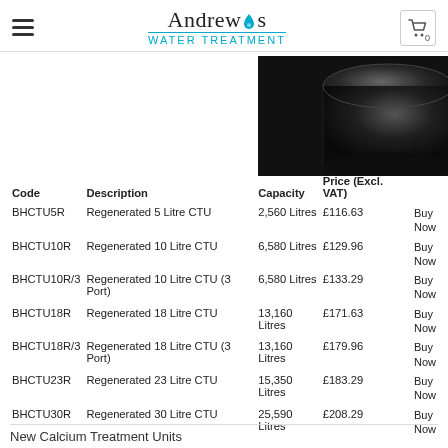Andrew's Water Treatment
[Figure (photo): Black cylindrical water treatment unit (CTU) photographed from above at an angle, showing the dark top surface.]
| Code | Description | Capacity | Price (Excl. VAT) |  |
| --- | --- | --- | --- | --- |
| BHCTU5R | Regenerated 5 Litre CTU | 2,560 Litres | £116.63 | Buy Now |
| BHCTU10R | Regenerated 10 Litre CTU | 6,580 Litres | £129.96 | Buy Now |
| BHCTU10R/3 | Regenerated 10 Litre CTU (3 Port) | 6,580 Litres | £133.29 | Buy Now |
| BHCTU18R | Regenerated 18 Litre CTU | 13,160 Litres | £171.63 | Buy Now |
| BHCTU18R/3 | Regenerated 18 Litre CTU (3 Port) | 13,160 Litres | £179.96 | Buy Now |
| BHCTU23R | Regenerated 23 Litre CTU | 15,350 Litres | £183.29 | Buy Now |
| BHCTU30R | Regenerated 30 Litre CTU | 25,590 Litres | £208.29 | Buy Now |
New Calcium Treatment Units